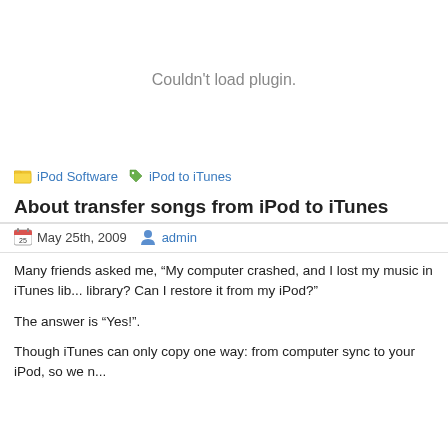[Figure (other): Plugin placeholder area showing 'Couldn't load plugin.' message]
iPod Software   iPod to iTunes
About transfer songs from iPod to iTunes
May 25th, 2009   admin
Many friends asked me, “My computer crashed, and I lost my music in iTunes library? Can I restore it from my iPod?"
The answer is “Yes!”.
Though iTunes can only copy one way: from computer sync to your iPod, so we n...